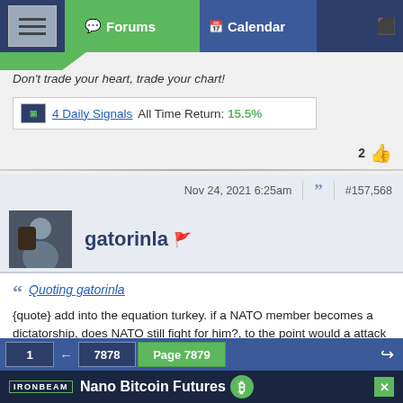Forums | Calendar
Don't trade your heart, trade your chart!
4 Daily Signals  All Time Return: 15.5%
2 (likes)
Nov 24, 2021 6:25am  #157,568
gatorinla
Quoting gatorinla  {quote} add into the equation turkey. if a NATO member becomes a dictatorship, does NATO still fight for him?, to the point would a attack on turkey or turkey attacking another mean NATO comes to its side. go back through 10 yrs of post. several mentions of a time when NATO fights NATO. and or many countries getting together with a single currency getting along is a myth, its been tried before, the euro dollar isn't the first time. it was tried long before with gold and silver with a central bank in
1  ←  7878  Page 7879
IRONBEAM  Nano Bitcoin Futures  Faster Trading | Take Either Side | Hedge Your Exposure